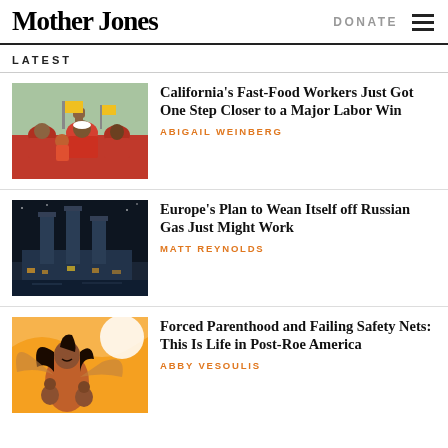Mother Jones | DONATE
LATEST
[Figure (photo): Protest photo of workers in red shirts raising fists with yellow flags]
California's Fast-Food Workers Just Got One Step Closer to a Major Labor Win
ABIGAIL WEINBERG
[Figure (photo): Night photo of industrial smokestacks/power plant lit up]
Europe's Plan to Wean Itself off Russian Gas Just Might Work
MATT REYNOLDS
[Figure (illustration): Orange illustration of a woman with children, post-Roe America themed]
Forced Parenthood and Failing Safety Nets: This Is Life in Post-Roe America
ABBY VESOULIS